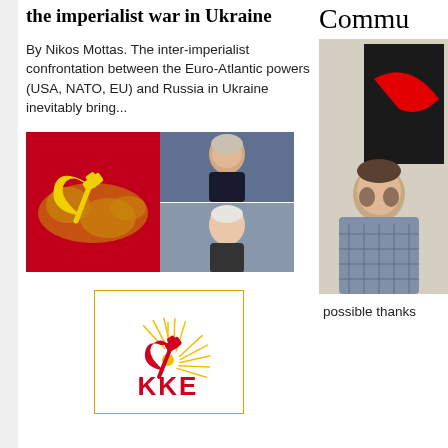the imperialist war in Ukraine
By Nikos Mottas. The inter-imperialist confrontation between the Euro-Atlantic powers (USA, NATO, EU) and Russia in Ukraine inevitably bring...
[Figure (photo): Composite image: left panel shows communist hammer-and-sickle symbol over world map on red background; top-right shows Vladimir Putin; bottom-right shows Joe Biden]
[Figure (logo): KKE (Communist Party of Greece) logo with red hammer and sickle and sunburst rays on white background with gold border]
Commu...
[Figure (photo): Man in plaid shirt standing in front of a poster with black and red graphic art]
possible thanks